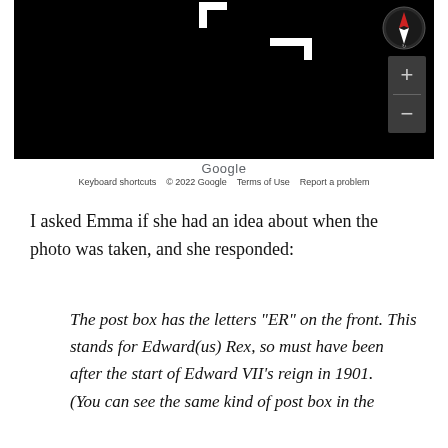[Figure (screenshot): Google Maps screenshot showing a dark/night mode map view with white building outlines on black background. Compass icon in top right corner. Zoom +/- controls on right side. Google branding at bottom with 'Keyboard shortcuts', '© 2022 Google', 'Terms of Use', 'Report a problem' links.]
I asked Emma if she had an idea about when the photo was taken, and she responded:
The post box has the letters "ER" on the front. This stands for Edward(us) Rex, so must have been after the start of Edward VII's reign in 1901.
(You can see the same kind of post box in the